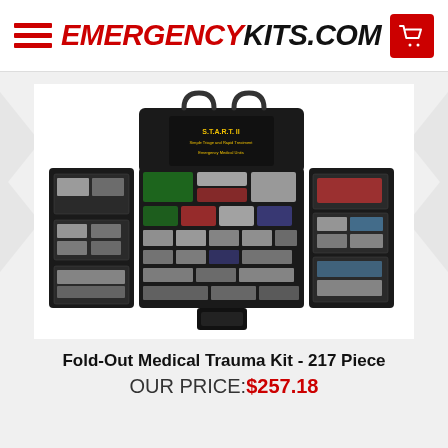EMERGENCYKITS.COM
[Figure (photo): A fold-out medical trauma kit (S.T.A.R.T. II branded) opened flat, showing multiple compartments filled with medical supplies, bandages, and first aid items. The black bag has handles and is laid out on a white background.]
Fold-Out Medical Trauma Kit - 217 Piece
OUR PRICE: $257.18